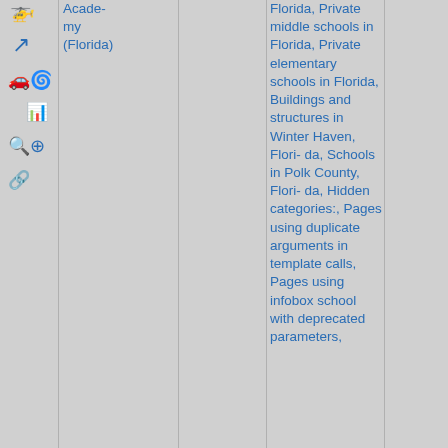[Figure (screenshot): Column of navigation/tool icons in blue: helicopter, arrow, car, swirl, buildings/chart, magnifier, plus circle, chain/link]
Acade-my (Florida)
Florida, Private middle schools in Florida, Private elementary schools in Florida, Buildings and structures in Winter Haven, Florida, Schools in Polk County, Florida, Hidden categories:, Pages using duplicate arguments in template calls, Pages using infobox school with deprecated parameters,